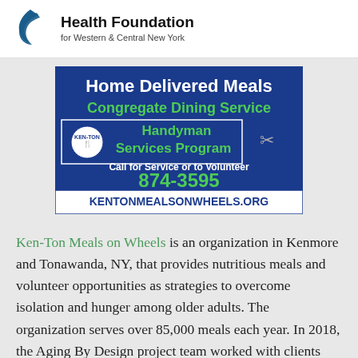Health Foundation for Western & Central New York
[Figure (other): Ken-Ton Meals on Wheels advertisement banner showing Home Delivered Meals, Congregate Dining Service, Handyman Services Program, Call for Service or to Volunteer 874-3595, KENTONMEALSONWHEELS.ORG]
Ken-Ton Meals on Wheels is an organization in Kenmore and Tonawanda, NY, that provides nutritious meals and volunteer opportunities as strategies to overcome isolation and hunger among older adults. The organization serves over 85,000 meals each year. In 2018, the Aging By Design project team worked with clients and volunteers to design, prototype, test, and